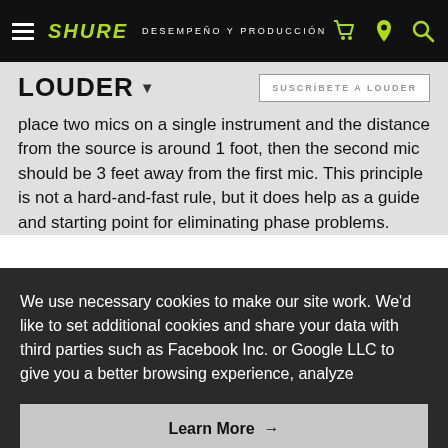SHURE — DESEMPEÑO Y PRODUCCIÓN
LOUDER
SUSCRÍBETE A LOUDER
place two mics on a single instrument and the distance from the source is around 1 foot, then the second mic should be 3 feet away from the first mic. This principle is not a hard-and-fast rule, but it does help as a guide and starting point for eliminating phase problems.
We use necessary cookies to make our site work. We'd like to set additional cookies and share your data with third parties such as Facebook Inc. or Google LLC to give you a better browsing experience, analyze
Learn More →
Agree and close